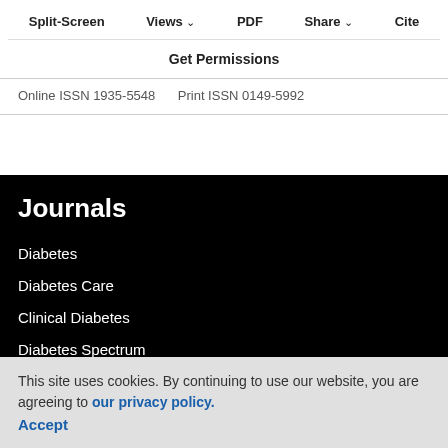Split-Screen   Views ∨   PDF   Share ∨   Cite
Get Permissions
Online ISSN 1935-5548   Print ISSN 0149-5992
Journals
Diabetes
Diabetes Care
Clinical Diabetes
Diabetes Spectrum
Standards of Medical Care in Diabetes
BMJ Open Diabetes Research & Care
This site uses cookies. By continuing to use our website, you are agreeing to our privacy policy. Accept